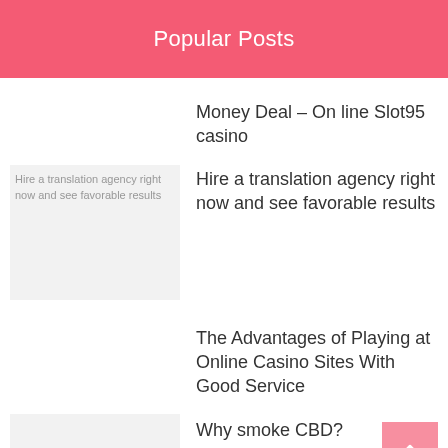Popular Posts
Money Deal – On line Slot95 casino
[Figure (photo): Thumbnail image for 'Hire a translation agency right now and see favorable results' post — broken image placeholder with alt text]
Hire a translation agency right now and see favorable results
The Advantages of Playing at Online Casino Sites With Good Service
[Figure (photo): Thumbnail image for 'Why smoke CBD?' post — light gray placeholder]
Why smoke CBD?